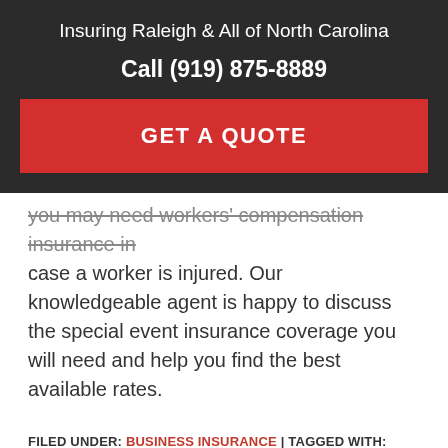Insuring Raleigh & All of North Carolina
Call (919) 875-8889
[Figure (other): Red GET A QUOTE button]
you may need workers' compensation insurance in case a worker is injured. Our knowledgeable agent is happy to discuss the special event insurance coverage you will need and help you find the best available rates.
FILED UNDER: BUSINESS INSURANCE | TAGGED WITH: SPECIAL EVENT INSURANCE